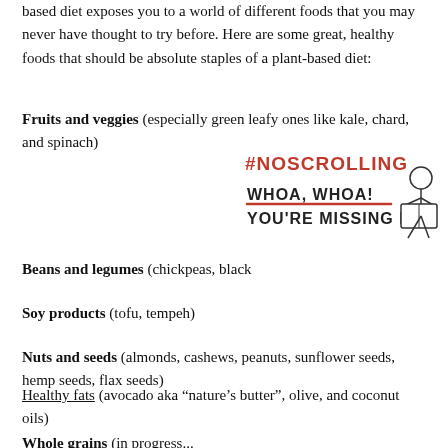based diet exposes you to a world of different foods that you may never have thought to try before. Here are some great, healthy foods that should be absolute staples of a plant-based diet:
Fruits and veggies (especially green leafy ones like kale, chard, and spinach)
[Figure (illustration): Annotation overlay with #NOSCROLLING in red, WHOA, WHOA! with red underline, and YOU'RE MISSING IT! with a cartoon figure reading]
Beans and legumes (chickpeas, black
Soy products (tofu, tempeh)
Nuts and seeds (almonds, cashews, peanuts, sunflower seeds, hemp seeds, flax seeds)
Healthy fats (avocado aka “nature’s butter”, olive, and coconut oils)
Whole grains (in progress: a bed of brown rice...